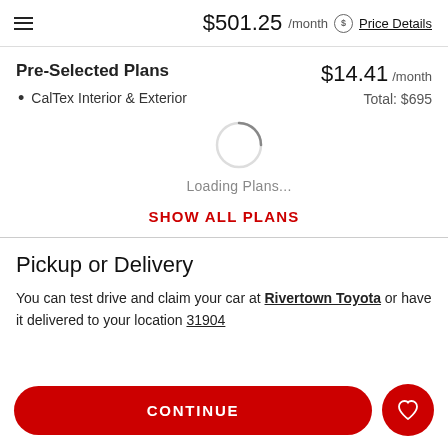$501.25 /month  Price Details
Pre-Selected Plans
CalTex Interior & Exterior
$14.41 /month
Total: $695
[Figure (other): Loading spinner circle with Loading Plans... text below]
SHOW ALL PLANS
Pickup or Delivery
You can test drive and claim your car at Rivertown Toyota or have it delivered to your location 31904
CONTINUE